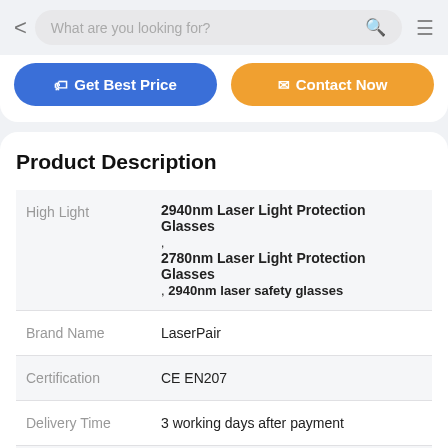What are you looking for?
[Figure (screenshot): Get Best Price and Contact Now buttons]
Product Description
| Field | Value |
| --- | --- |
| High Light | 2940nm Laser Light Protection Glasses
, 2780nm Laser Light Protection Glasses
, 2940nm laser safety glasses |
| Brand Name | LaserPair |
| Certification | CE EN207 |
| Delivery Time | 3 working days after payment |
| Minimum Order | 1PC |